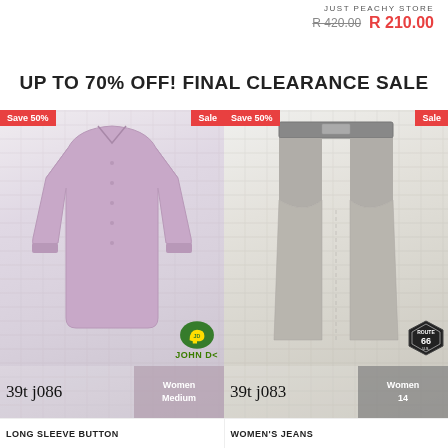JUST PEACHY STORE
R 420.00  R 210.00
UP TO 70% OFF! FINAL CLEARANCE SALE
[Figure (photo): Pink long sleeve button-up shirt on white brick background. Badge: Save 50%, Sale. Handwritten label: 39t j086. Category tag: Women Medium. John Deere logo visible.]
LONG SLEEVE BUTTON
[Figure (photo): Grey Women's Jeans on white brick background. Badge: Save 50%, Sale. Handwritten label: 39t j083. Category tag: Women 14. Route 66 logo visible.]
WOMEN'S JEANS